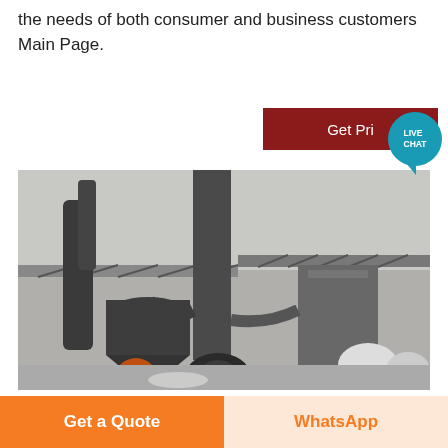the needs of both consumer and business customers Main Page.
[Figure (photo): Industrial machinery and equipment in a factory or processing plant, showing large pipes, cyclone separators, dust collectors, and bulk storage bags inside a warehouse structure.]
Get Price
LIVE CHAT
Get a Quote
WhatsApp